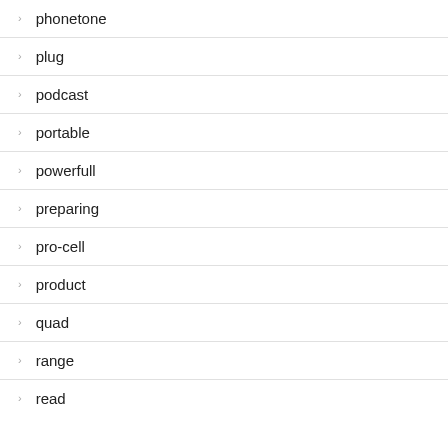phonetone
plug
podcast
portable
powerfull
preparing
pro-cell
product
quad
range
read